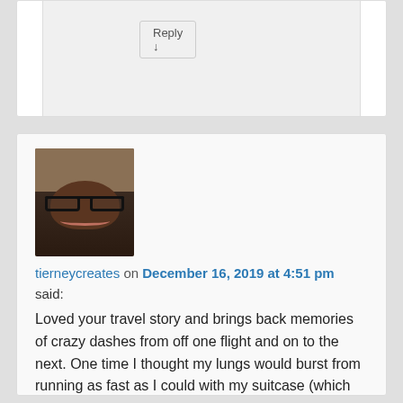Reply ↓
[Figure (photo): Profile photo of a Black woman wearing glasses and a knit hat, smiling]
tierneycreates on December 16, 2019 at 4:51 pm
said:
Loved your travel story and brings back memories of crazy dashes from off one flight and on to the next. One time I thought my lungs would burst from running as fast as I could with my suitcase (which was heavy of course).
★ Liked by 1 person